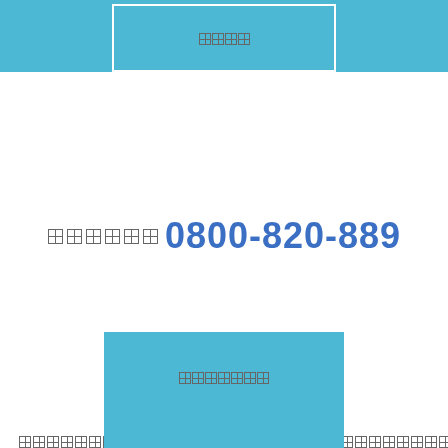□□□□
□□□□□□ 0800-820-889
□□□□□□□
□□□□□□□□□□□□□□□□□□□□□□□□□□□□□□□□□□□□□□□□□□□□□□